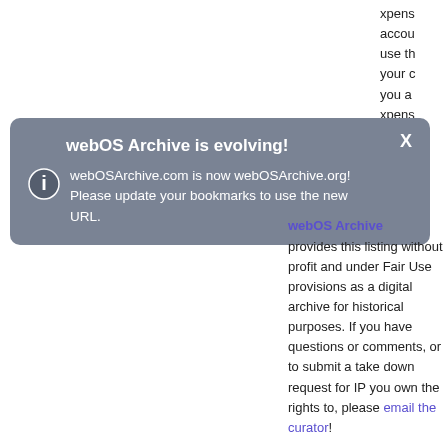xpens
accou
use th
your c
you a
xpens
webOS Archive is evolving!
webOSArchive.com is now webOSArchive.org! Please update your bookmarks to use the new URL.
webOS Archive provides this listing without profit and under Fair Use provisions as a digital archive for historical purposes. If you have questions or comments, or to submit a take down request for IP you own the rights to, please email the curator!